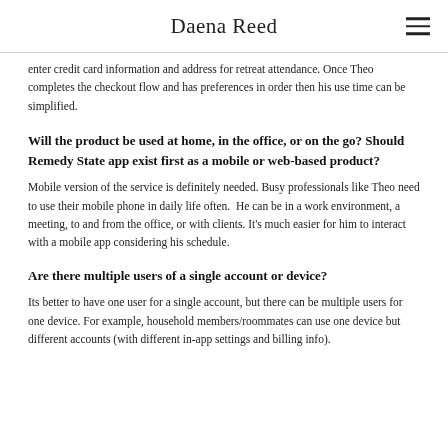Daena Reed
enter credit card information and address for retreat attendance. Once Theo completes the checkout flow and has preferences in order then his use time can be simplified.
Will the product be used at home, in the office, or on the go? Should Remedy State app exist first as a mobile or web-based product?
Mobile version of the service is definitely needed. Busy professionals like Theo need to use their mobile phone in daily life often.  He can be in a work environment, a meeting, to and from the office, or with clients. It's much easier for him to interact with a mobile app considering his schedule.
Are there multiple users of a single account or device?
Its better to have one user for a single account, but there can be multiple users for one device. For example, household members/roommates can use one device but different accounts (with different in-app settings and billing info).